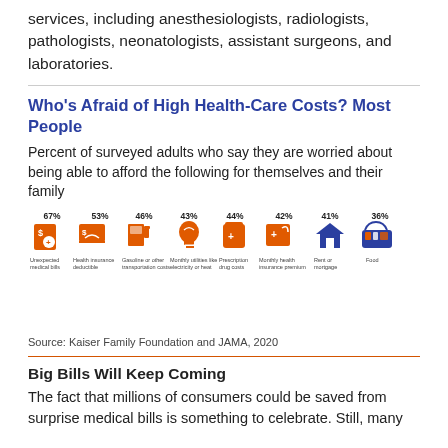services, including anesthesiologists, radiologists, pathologists, neonatologists, assistant surgeons, and laboratories.
Who's Afraid of High Health-Care Costs? Most People
Percent of surveyed adults who say they are worried about being able to afford the following for themselves and their family
[Figure (infographic): Bar/icon infographic showing percent of surveyed adults worried about affording various health-care costs: Unexpected medical bills 67%, Health insurance deductible 53%, Gasoline or other transportation costs 46%, Monthly utilities like electricity or heat 43%, Prescription drug costs 44%, Monthly health insurance premium 42%, Rent or mortgage 41%, Food 36%]
Source: Kaiser Family Foundation and JAMA, 2020
Big Bills Will Keep Coming
The fact that millions of consumers could be saved from surprise medical bills is something to celebrate. Still, many